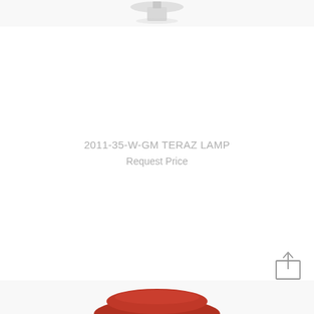[Figure (photo): Top portion of a lamp product photo, showing the upper part of a white lamp against white background, partially cropped]
2011-35-W-GM TERAZ LAMP
Request Price
[Figure (illustration): Share/upload icon — a box with an upward arrow, grey outline, in the bottom right corner]
[Figure (photo): Bottom portion of a lamp product photo, showing the base of a red/brown lamp, partially cropped at the bottom edge]